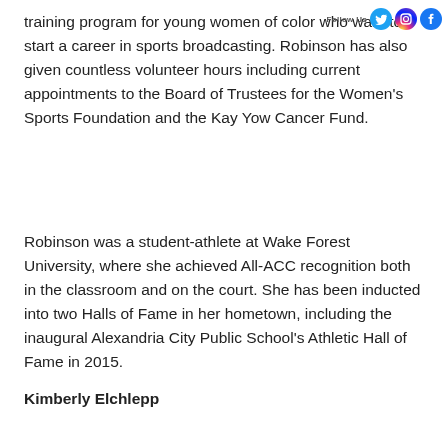training program for young women of color who want to start a career in sports broadcasting. Robinson has also given countless volunteer hours including current appointments to the Board of Trustees for the Women's Sports Foundation and the Kay Yow Cancer Fund.
Robinson was a student-athlete at Wake Forest University, where she achieved All-ACC recognition both in the classroom and on the court. She has been inducted into two Halls of Fame in her hometown, including the inaugural Alexandria City Public School's Athletic Hall of Fame in 2015.
Kimberly Elchlepp